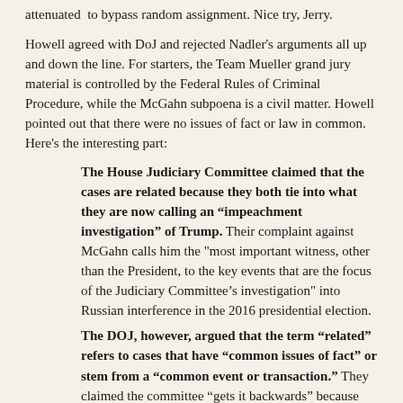attenuated to bypass random assignment. Nice try, Jerry.
Howell agreed with DoJ and rejected Nadler's arguments all up and down the line. For starters, the Team Mueller grand jury material is controlled by the Federal Rules of Criminal Procedure, while the McGahn subpoena is a civil matter. Howell pointed out that there were no issues of fact or law in common. Here's the interesting part:
The House Judiciary Committee claimed that the cases are related because they both tie into what they are now calling an “impeachment investigation” of Trump. Their complaint against McGahn calls him the "most important witness, other than the President, to the key events that are the focus of the Judiciary Committee’s investigation" into Russian interference in the 2016 presidential election.
The DOJ, however, argued that the term “related” refers to cases that have “common issues of fact” or stem from a “common event or transaction.” They claimed the committee "gets it backwards" because